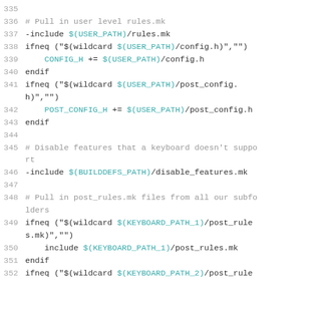[Figure (screenshot): Source code listing (Makefile) showing lines 335-352, with syntax highlighting: line numbers in gray, variable references like $(USER_PATH), $(BUILDDEFS_PATH), $(KEYBOARD_PATH_1), $(KEYBOARD_PATH_2) in teal/cyan, rest of code in dark gray/black, comments in gray.]